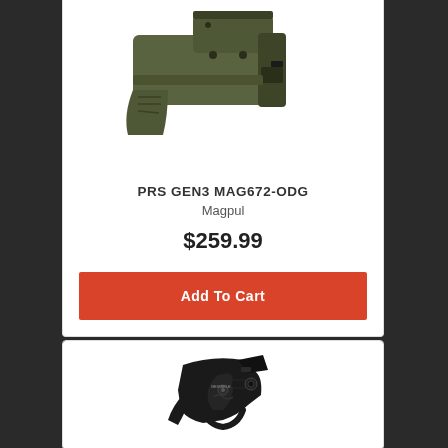[Figure (photo): Olive drab green Magpul PRS GEN3 rifle stock, shown from the side against white background]
PRS GEN3 MAG672-ODG
Magpul
$259.99
Add To Cart
[Figure (photo): Black AR-15 trigger group assembly shown against white background]